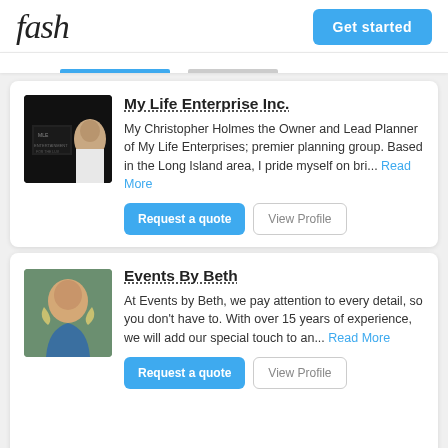fash
Get started
My Life Enterprise Inc.
My Christopher Holmes the Owner and Lead Planner of My Life Enterprises; premier planning group. Based in the Long Island area, I pride myself on bri... Read More
Request a quote
View Profile
Events By Beth
At Events by Beth, we pay attention to every detail, so you don't have to. With over 15 years of experience, we will add our special touch to an... Read More
Request a quote
View Profile